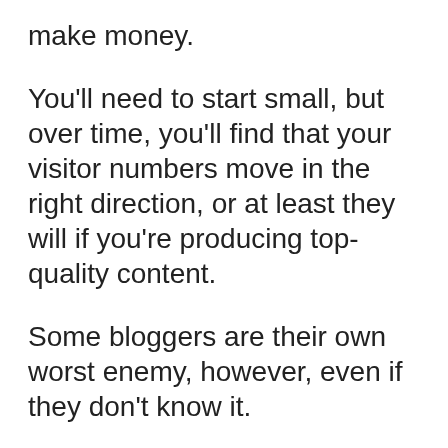make money.
You'll need to start small, but over time, you'll find that your visitor numbers move in the right direction, or at least they will if you're producing top-quality content.
Some bloggers are their own worst enemy, however, even if they don't know it.
Because they spend all their time writing blogs and promoting their website, they forget an important detail that can have a big effect on their success: how